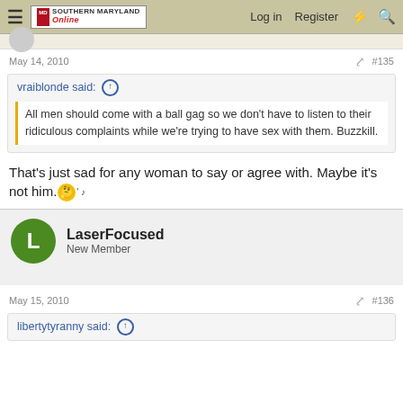Southern Maryland Online - Log in  Register
May 14, 2010  #135
vraiblonde said: ↑
All men should come with a ball gag so we don't have to listen to their ridiculous complaints while we're trying to have sex with them. Buzzkill.
That's just sad for any woman to say or agree with. Maybe it's not him.
LaserFocused
New Member
May 15, 2010  #136
libertytyranny said: ↑